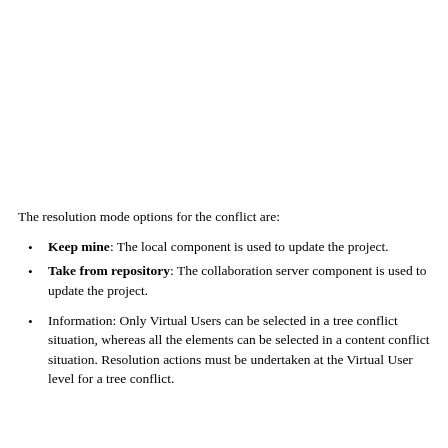The resolution mode options for the conflict are:
Keep mine: The local component is used to update the project.
Take from repository: The collaboration server component is used to update the project.
Information: Only Virtual Users can be selected in a tree conflict situation, whereas all the elements can be selected in a content conflict situation. Resolution actions must be undertaken at the Virtual User level for a tree conflict.